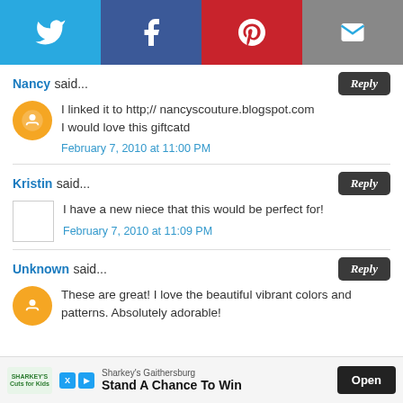[Figure (infographic): Social sharing bar with Twitter, Facebook, Pinterest, and Email icons]
Nancy said... [Reply] I linked it to http;// nancyscouture.blogspot.com I would love this giftcatd
February 7, 2010 at 11:00 PM
Kristin said... [Reply] I have a new niece that this would be perfect for!
February 7, 2010 at 11:09 PM
Unknown said... [Reply] These are great! I love the beautiful vibrant colors and patterns. Absolutely adorable!
[Figure (infographic): Advertisement banner: Sharkey's Gaithersburg - Stand A Chance To Win, Open button]